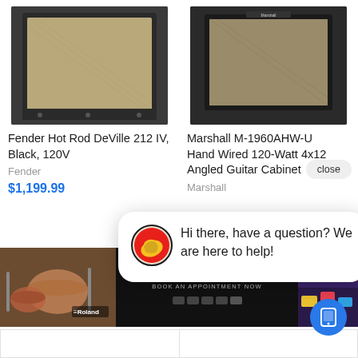[Figure (photo): Fender Hot Rod DeVille 212 IV guitar amplifier, black]
Fender Hot Rod DeVille 212 IV, Black, 120V
Fender
$1,199.99
[Figure (photo): Marshall M-1960AHW-U Hand Wired 120-Watt 4x12 Angled Guitar Cabinet]
Marshall M-1960AHW-U Hand Wired 120-Watt 4x12 Angled Guitar Cabinet
Marshall
close
[Figure (photo): Chat assistant icon - circular logo with red, yellow and black design]
Hi there, have a question? We are here to help!
[Figure (photo): Roland Store In Store banner with drum kit photo, keyboard photo and colorful gear photo]
ROLAND STORE IN STORE
BOOK AN APPOINTMENT NOW